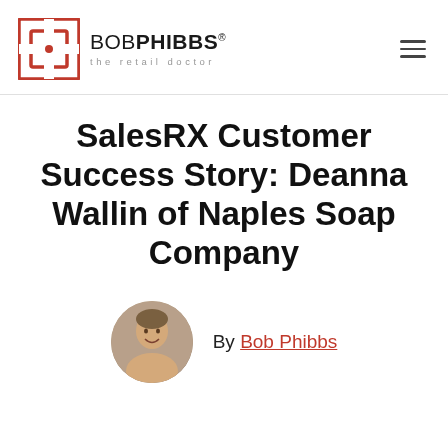[Figure (logo): BobPhibbs the retail doctor logo with red cross/square icon and text]
SalesRX Customer Success Story: Deanna Wallin of Naples Soap Company
By Bob Phibbs